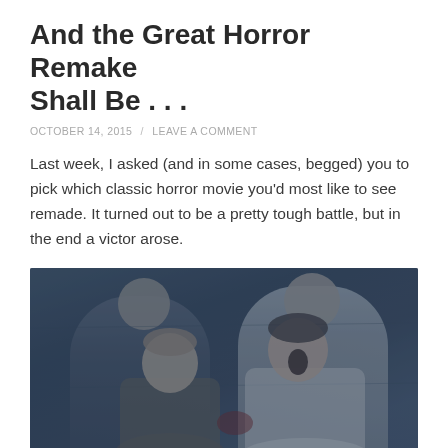And the Great Horror Remake Shall Be . . .
OCTOBER 14, 2015 / LEAVE A COMMENT
Last week, I asked (and in some cases, begged) you to pick which classic horror movie you'd most like to see remade. It turned out to be a pretty tough battle, but in the end a victor arose.
[Figure (photo): Two men in distress, one leaning toward the other who appears to be screaming or in pain, in a dark scene with blue-grey tones.]